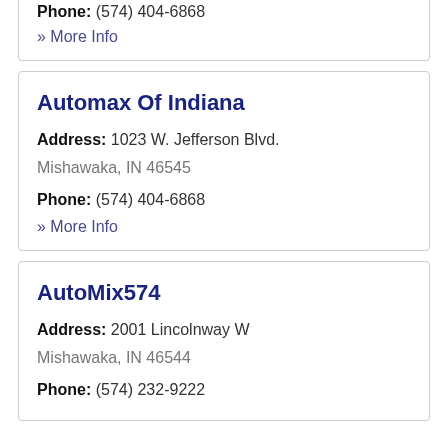Phone: (574) 404-6868
» More Info
Automax Of Indiana
Address: 1023 W. Jefferson Blvd.
Mishawaka, IN 46545
Phone: (574) 404-6868
» More Info
AutoMix574
Address: 2001 Lincolnway W
Mishawaka, IN 46544
Phone: (574) 232-9222